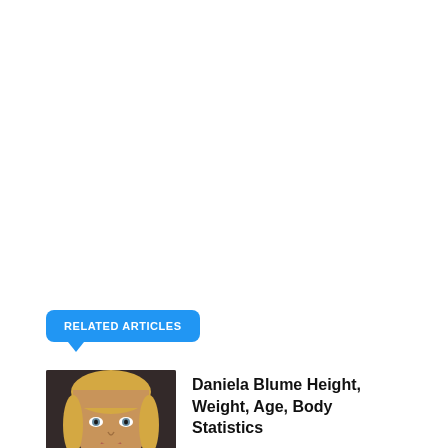RELATED ARTICLES
[Figure (photo): Thumbnail photo of Daniela Blume, a blonde woman]
Daniela Blume Height, Weight, Age, Body Statistics